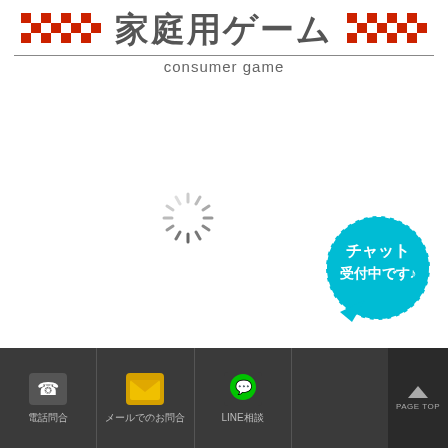家庭用ゲーム consumer game
[Figure (screenshot): Loading spinner (circular dashes) in center of white content area]
[Figure (illustration): Teal speech bubble with dashed border and Japanese text チャット受付中です♪]
電話問合 メールでのお問合 LINE相談 PAGE TOP